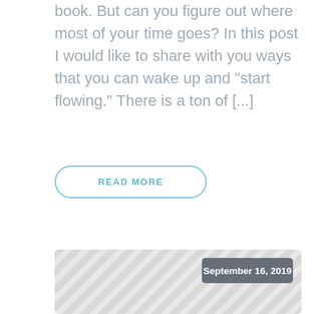book. But can you figure out where most of your time goes? In this post I would like to share with you ways that you can wake up and "start flowing." There is a ton of [...]
READ MORE
[Figure (illustration): Gray diagonal striped placeholder image with a dark gray date badge reading 'September 16, 2019' in the upper right corner.]